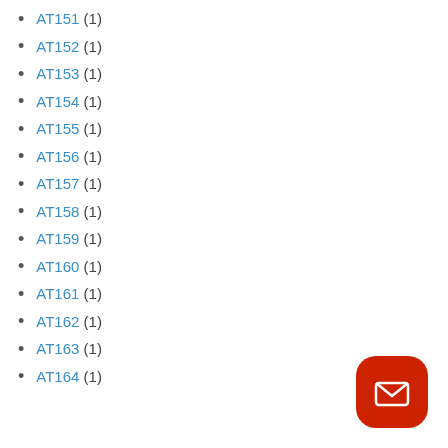AT151 (1)
AT152 (1)
AT153 (1)
AT154 (1)
AT155 (1)
AT156 (1)
AT157 (1)
AT158 (1)
AT159 (1)
AT160 (1)
AT161 (1)
AT162 (1)
AT163 (1)
AT164 (1)
[Figure (illustration): Red rounded square button with white envelope/mail icon]